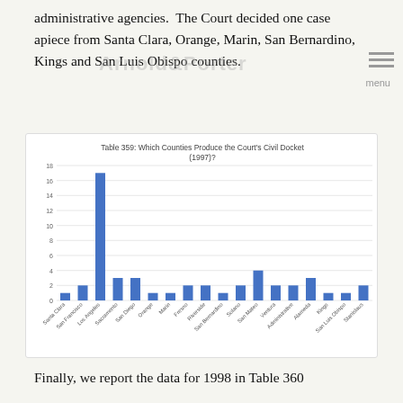administrative agencies.  The Court decided one case apiece from Santa Clara, Orange, Marin, San Bernardino, Kings and San Luis Obispo counties.
[Figure (bar-chart): Table 359: Which Counties Produce the Court's Civil Docket (1997)?]
Finally, we report the data for 1998 in Table 360